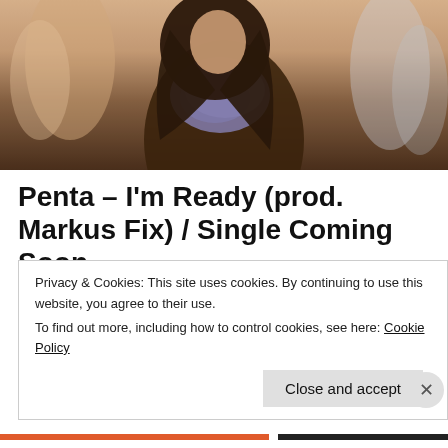[Figure (photo): A woman with long dark hair wearing a dark coat and purple/blue floral scarf, walking in a busy place with blurred crowd in the background. Warm-toned photography.]
Penta – I'm Ready (prod. Markus Fix) / Single Coming Soon
Recording Artist Penta Pitches (True Black Music Publishing, BMI) is officially under the management of "Bia
Privacy & Cookies: This site uses cookies. By continuing to use this website, you agree to their use.
To find out more, including how to control cookies, see here: Cookie Policy
Close and accept